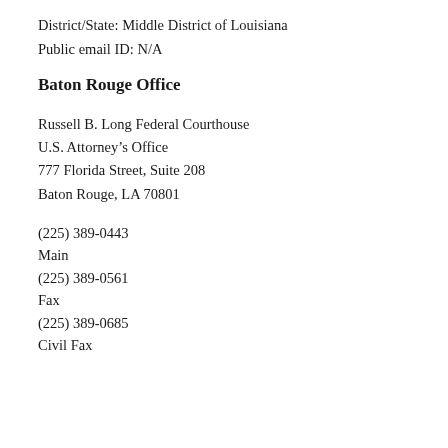District/State: Middle District of Louisiana
Public email ID: N/A
Baton Rouge Office
Russell B. Long Federal Courthouse
U.S. Attorney’s Office
777 Florida Street, Suite 208
Baton Rouge, LA 70801
(225) 389-0443
Main
(225) 389-0561
Fax
(225) 389-0685
Civil Fax